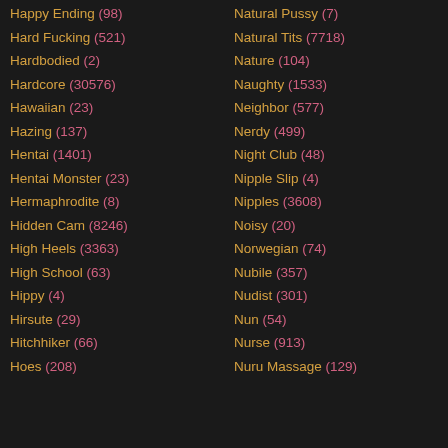Happy Ending (98)
Hard Fucking (521)
Hardbodied (2)
Hardcore (30576)
Hawaiian (23)
Hazing (137)
Hentai (1401)
Hentai Monster (23)
Hermaphrodite (8)
Hidden Cam (8246)
High Heels (3363)
High School (63)
Hippy (4)
Hirsute (29)
Hitchhiker (66)
Hoes (208)
Natural Pussy (7)
Natural Tits (7718)
Nature (104)
Naughty (1533)
Neighbor (577)
Nerdy (499)
Night Club (48)
Nipple Slip (4)
Nipples (3608)
Noisy (20)
Norwegian (74)
Nubile (357)
Nudist (301)
Nun (54)
Nurse (913)
Nuru Massage (129)